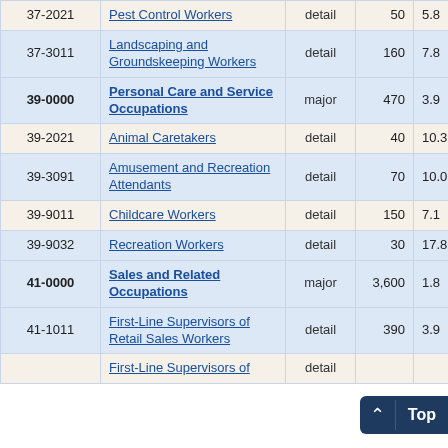| SOC Code | Occupation Title | Level | Employment (hundreds) | Percent |
| --- | --- | --- | --- | --- |
| 37-2021 | Pest Control Workers | detail | 50 | 5.8 |
| 37-3011 | Landscaping and Groundskeeping Workers | detail | 160 | 7.8 |
| 39-0000 | Personal Care and Service Occupations | major | 470 | 3.9 |
| 39-2021 | Animal Caretakers | detail | 40 | 10.3 |
| 39-3091 | Amusement and Recreation Attendants | detail | 70 | 10.0 |
| 39-9011 | Childcare Workers | detail | 150 | 7.1 |
| 39-9032 | Recreation Workers | detail | 30 | 17.8 |
| 41-0000 | Sales and Related Occupations | major | 3,600 | 1.8 |
| 41-1011 | First-Line Supervisors of Retail Sales Workers | detail | 390 | 3.9 |
|  | First-Line Supervisors of | detail |  |  |